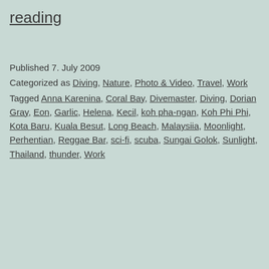reading
Published 7. July 2009
Categorized as Diving, Nature, Photo & Video, Travel, Work
Tagged Anna Karenina, Coral Bay, Divemaster, Diving, Dorian Gray, Eon, Garlic, Helena, Kecil, koh pha-ngan, Koh Phi Phi, Kota Baru, Kuala Besut, Long Beach, Malaysiia, Moonlight, Perhentian, Reggae Bar, sci-fi, scuba, Sungai Golok, Sunlight, Thailand, thunder, Work